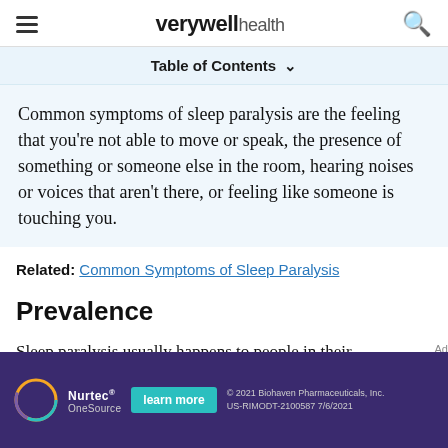verywell health
Table of Contents
Common symptoms of sleep paralysis are the feeling that you're not able to move or speak, the presence of something or someone else in the room, hearing noises or voices that aren't there, or feeling like someone is touching you.
Related: Common Symptoms of Sleep Paralysis
Prevalence
Sleep paralysis usually happens to people in their
[Figure (other): Nurtec OneSource advertisement banner with teal learn more button. © 2021 Biohaven Pharmaceuticals, Inc. US-RIMODT-2100587 7/6/2021]